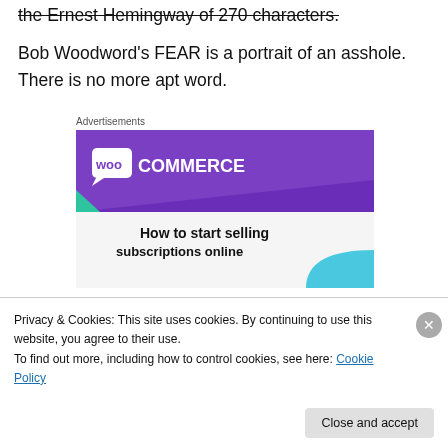the Ernest Hemingway of 270 characters.
Bob Woodword's FEAR is a portrait of an asshole.  There is no more apt word.
Advertisements
[Figure (illustration): WooCommerce advertisement banner showing purple header with WooCommerce logo, teal and blue geometric shapes, and text 'How to start selling subscriptions online']
Privacy & Cookies: This site uses cookies. By continuing to use this website, you agree to their use.
To find out more, including how to control cookies, see here: Cookie Policy